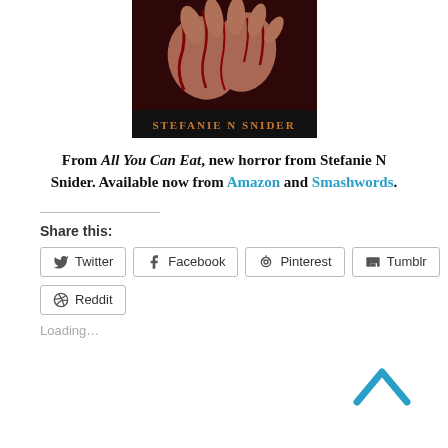[Figure (photo): Book cover for 'All You Can Eat' by Stefanie N Snider, showing bloody hands clasped together against a black background, with the author name at the bottom in gold/orange text.]
From All You Can Eat, new horror from Stefanie N Snider. Available now from Amazon and Smashwords.
Share this:
Twitter
Facebook
Pinterest
Tumblr
Reddit
Loading…